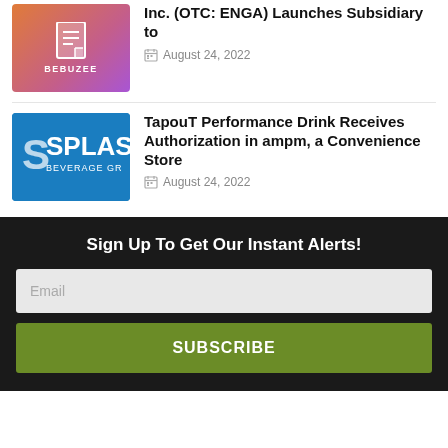[Figure (logo): Bebuzee logo — gradient orange-pink-purple background with document icon and BEBUZEE text]
Inc. (OTC: ENGA) Launches Subsidiary to
August 24, 2022
[Figure (logo): Splash Beverage Group logo — blue background with S SPLAS text]
TapouT Performance Drink Receives Authorization in ampm, a Convenience Store
August 24, 2022
Sign Up To Get Our Instant Alerts!
Email
SUBSCRIBE